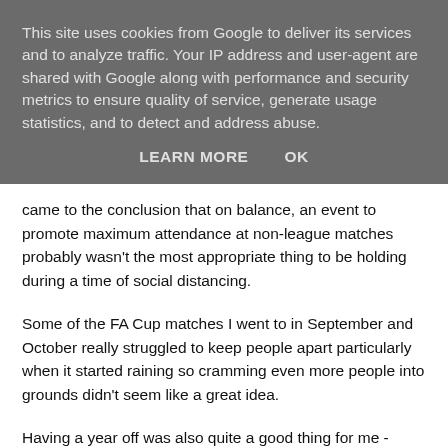This site uses cookies from Google to deliver its services and to analyze traffic. Your IP address and user-agent are shared with Google along with performance and security metrics to ensure quality of service, generate usage statistics, and to detect and address abuse.
LEARN MORE   OK
came to the conclusion that on balance, an event to promote maximum attendance at non-league matches probably wasn't the most appropriate thing to be holding during a time of social distancing.
Some of the FA Cup matches I went to in September and October really struggled to keep people apart particularly when it started raining so cramming even more people into grounds didn't seem like a great idea.
Having a year off was also quite a good thing for me - organising NLD is a huge drain on my time and finances and I can't say I really missed it. With many Premier League and EFL fans shut out of their own grounds and going to non-league games became after covid in the not so dub did this